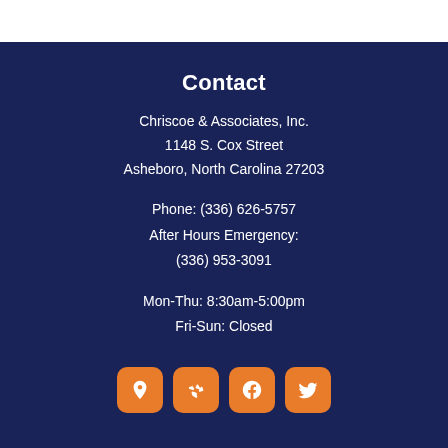Contact
Chriscoe & Associates, Inc.
1148 S. Cox Street
Asheboro, North Carolina 27203
Phone: (336) 626-5757
After Hours Emergency:
(336) 953-3091
Mon-Thu: 8:30am-5:00pm
Fri-Sun: Closed
[Figure (other): Four orange rounded square social media icon buttons: Google Maps pin icon, Yelp icon, Facebook icon, Twitter icon]